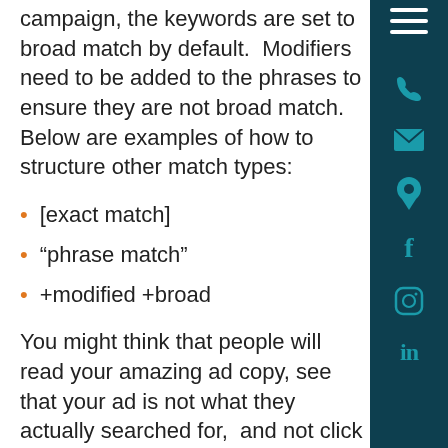campaign, the keywords are set to broad match by default.  Modifiers need to be added to the phrases to ensure they are not broad match.  Below are examples of how to structure other match types:
[exact match]
“phrase match”
+modified +broad
You might think that people will read your amazing ad copy, see that your ad is not what they actually searched for,  and not click on the link when it shows up.  Unfortunately, the data shows that people are not very